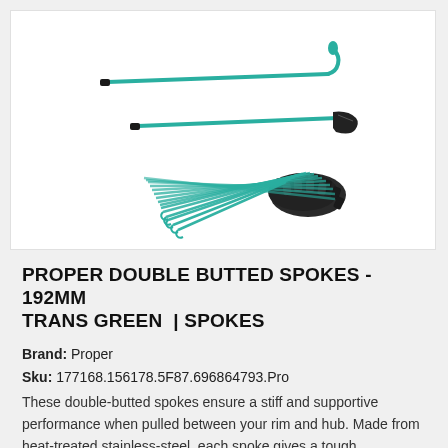[Figure (photo): Product photo showing teal/green double-butted bicycle spokes: one individual spoke with a bent head at top, one spoke with a black rubber handle/tip below it, and a bundle of many teal spokes with black nipples fanned out at bottom.]
PROPER DOUBLE BUTTED SPOKES - 192MM TRANS GREEN | SPOKES
Brand: Proper
Sku: 177168.156178.5F87.696864793.Pro
These double-butted spokes ensure a stiff and supportive performance when pulled between your rim and hub. Made from heat-treated stainless-steel, each spoke gives a tough